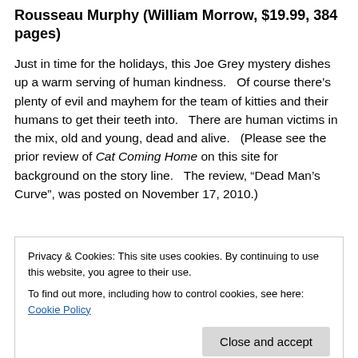Rousseau Murphy (William Morrow, $19.99, 384 pages)
Just in time for the holidays, this Joe Grey mystery dishes up a warm serving of human kindness.   Of course there’s plenty of evil and mayhem for the team of kitties and their humans to get their teeth into.   There are human victims in the mix, old and young, dead and alive.   (Please see the prior review of Cat Coming Home on this site for background on the story line.   The review, “Dead Man’s Curve”, was posted on November 17, 2010.)
As with prior books in this series, Cat Telling Tales
Privacy & Cookies: This site uses cookies. By continuing to use this website, you agree to their use.
To find out more, including how to control cookies, see here: Cookie Policy
provides ample evidence of how pets are abandoned and